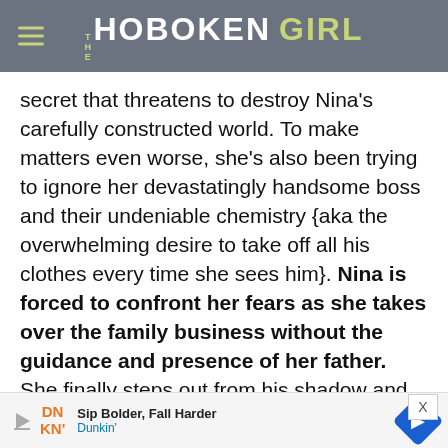THE HOBOKEN GIRL
secret that threatens to destroy Nina's carefully constructed world. To make matters even worse, she's also been trying to ignore her devastatingly handsome boss and their undeniable chemistry {aka the overwhelming desire to take off all his clothes every time she sees him}. Nina is forced to confront her fears as she takes over the family business without the guidance and presence of her father. She finally steps out from his shadow and must figure out who she really is. This endearing
[Figure (infographic): Dunkin' advertisement banner with DN/KN logo, 'Sip Bolder, Fall Harder' tagline, and a blue diamond navigation icon]